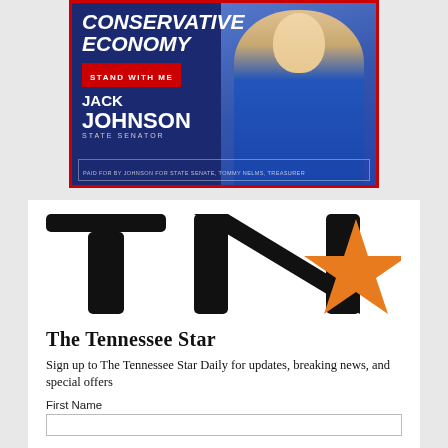[Figure (illustration): Political campaign advertisement banner for Jack Johnson, State Senator. Dark navy/blue background with red border. Text reads 'CONSERVATIVE ECONOMY', 'STAND WITH ME', 'JACK JOHNSON STATE SENATOR'. Photo of a man in blue blazer on the right side. Paid for by Johnson for State Senate, Tommy Nelms, Treasurer.]
[Figure (logo): The Tennessee Star logo: large bold black 'TN' letters with an orange five-pointed star, and below it 'The Tennessee Star' in serif font.]
Sign up to The Tennessee Star Daily for updates, breaking news, and special offers
First Name